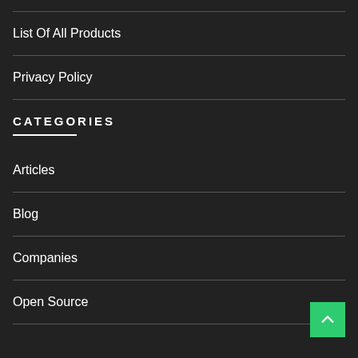List Of All Products
Privacy Policy
CATEGORIES
Articles
Blog
Companies
Open Source